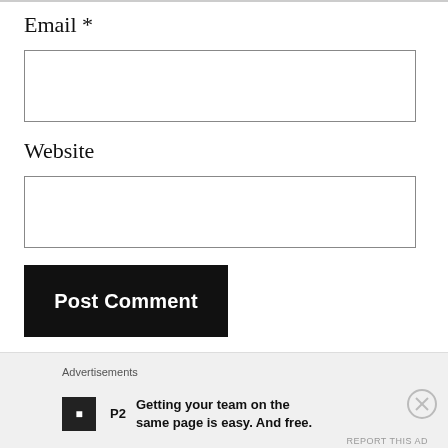Email *
[Figure (other): Empty email input text field with border]
Website
[Figure (other): Empty website input text field with border]
Post Comment
Notify me of new comments via email.
Notify me of new posts via email.
Advertisements
Getting your team on the same page is easy. And free.